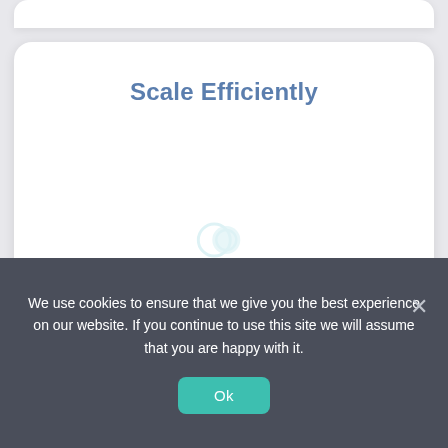Scale Efficiently
[Figure (logo): Zero to Car Search watermark logo with circular icon and text 'ZERO TO CAR SEARCH' below it, shown faintly in the center of the card]
We can start hiring for your already in 2 weeks and add recruiters as your needs change
We use cookies to ensure that we give you the best experience on our website. If you continue to use this site we will assume that you are happy with it.